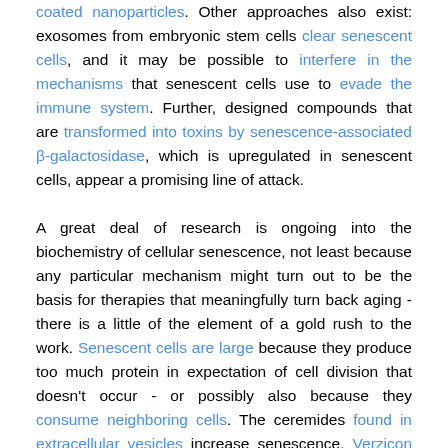coated nanoparticles. Other approaches also exist: exosomes from embryonic stem cells clear senescent cells, and it may be possible to interfere in the mechanisms that senescent cells use to evade the immune system. Further, designed compounds that are transformed into toxins by senescence-associated β-galactosidase, which is upregulated in senescent cells, appear a promising line of attack.

A great deal of research is ongoing into the biochemistry of cellular senescence, not least because any particular mechanism might turn out to be the basis for therapies that meaningfully turn back aging - there is a little of the element of a gold rush to the work. Senescent cells are large because they produce too much protein in expectation of cell division that doesn't occur - or possibly also because they consume neighboring cells. The ceremides found in extracellular vesicles increase senescence. Verzicon may link the hyperglycemic diabetic